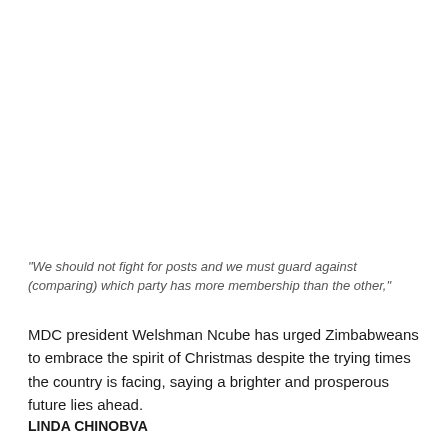"We should not fight for posts and we must guard against (comparing) which party has more membership than the other,"
MDC president Welshman Ncube has urged Zimbabweans to embrace the spirit of Christmas despite the trying times the country is facing, saying a brighter and prosperous future lies ahead.
LINDA CHINOBVA